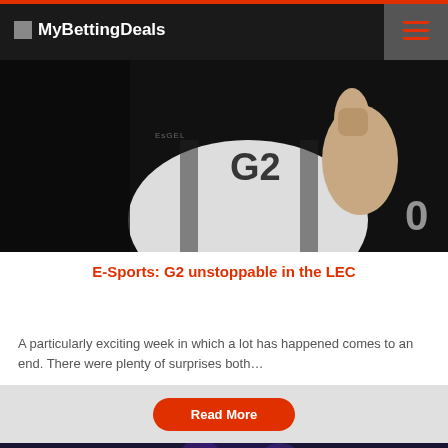MyBettingDeals
[Figure (photo): Esports player in G2 Esports jersey, celebrating or holding jersey, dark background]
E-Sports: G2 unstoppable in the LEC
A particularly exciting week in which a lot has happened comes to an end. There were plenty of surprises both…
[Figure (photo): Second article image with location pin icon overlay, dark background, arena-like setting]